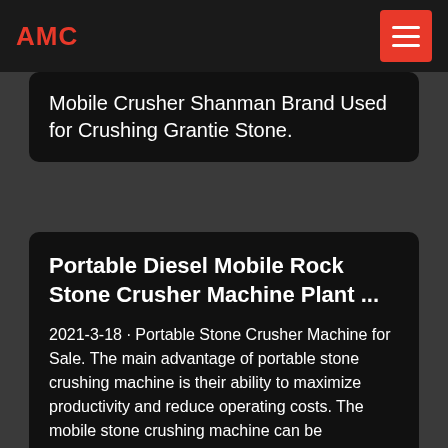AMC
Mobile Crusher Shanman Brand Used for Crushing Grantie Stone.
Portable Diesel Mobile Rock Stone Crusher Machine Plant ...
2021-3-18 · Portable Stone Crusher Machine for Sale. The main advantage of portable stone crushing machine is their ability to maximize productivity and reduce operating costs. The mobile stone crushing machine can be positioned close to the working face and then relocated under its own power in as little as 20min.